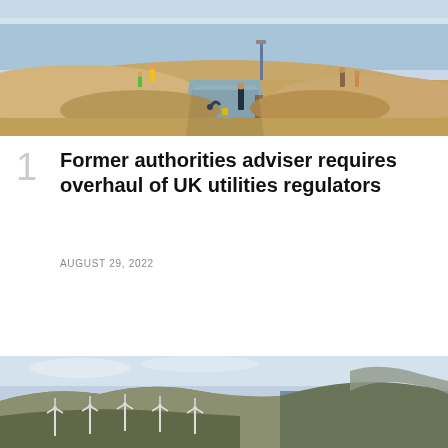[Figure (photo): Beach scene with people playing in sand near a water channel outlet, with calm sea in background]
Former authorities adviser requires overhaul of UK utilities regulators
AUGUST 29, 2022
[Figure (photo): Aerial view of wind turbines on coastal landscape with mountainous backdrop and sea]